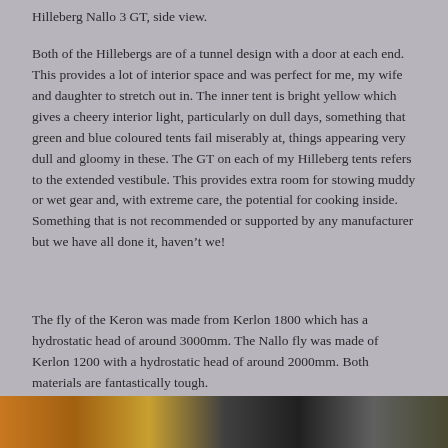Hilleberg Nallo 3 GT, side view.
Both of the Hillebergs are of a tunnel design with a door at each end. This provides a lot of interior space and was perfect for me, my wife and daughter to stretch out in. The inner tent is bright yellow which gives a cheery interior light, particularly on dull days, something that green and blue coloured tents fail miserably at, things appearing very dull and gloomy in these. The GT on each of my Hilleberg tents refers to the extended vestibule. This provides extra room for stowing muddy or wet gear and, with extreme care, the potential for cooking inside. Something that is not recommended or supported by any manufacturer but we have all done it, haven't we!
The fly of the Keron was made from Kerlon 1800 which has a hydrostatic head of around 3000mm. The Nallo fly was made of Kerlon 1200 with a hydrostatic head of around 2000mm. Both materials are fantastically tough.
[Figure (photo): Bottom strip showing a photograph of a tent or outdoor scene, partially visible at the bottom of the page.]